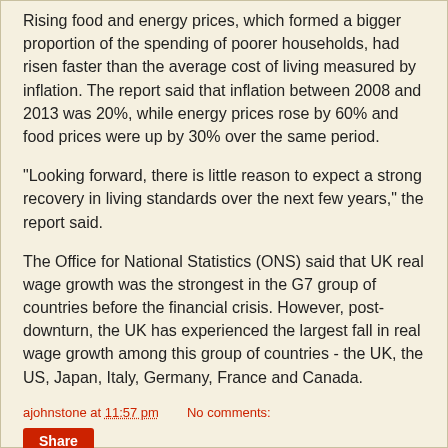Rising food and energy prices, which formed a bigger proportion of the spending of poorer households, had risen faster than the average cost of living measured by inflation. The report said that inflation between 2008 and 2013 was 20%, while energy prices rose by 60% and food prices were up by 30% over the same period.
"Looking forward, there is little reason to expect a strong recovery in living standards over the next few years," the report said.
The Office for National Statistics (ONS) said that UK real wage growth was the strongest in the G7 group of countries before the financial crisis. However, post-downturn, the UK has experienced the largest fall in real wage growth among this group of countries - the UK, the US, Japan, Italy, Germany, France and Canada.
ajohnstone at 11:57 pm    No comments: